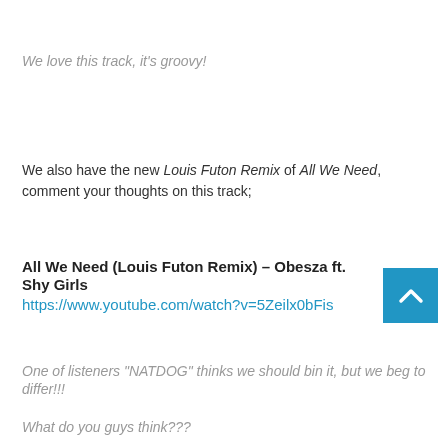We love this track, it's groovy!
We also have the new Louis Futon Remix of All We Need, comment your thoughts on this track;
All We Need (Louis Futon Remix) – Obesza ft. Shy Girls
https://www.youtube.com/watch?v=5Zeilx0bFis
One of listeners  “NATDOG” thinks we should bin it, but we beg to differ!!!
What do you guys think???